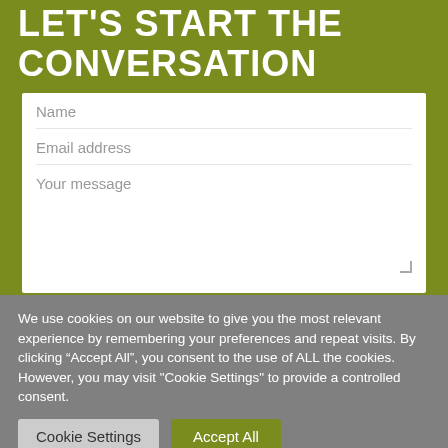LET'S START THE CONVERSATION
[Figure (screenshot): Web contact form with fields: Name, Email address, Your message (textarea), and a checkbox row saying 'Please tick this box if you agree to be...']
We use cookies on our website to give you the most relevant experience by remembering your preferences and repeat visits. By clicking “Accept All”, you consent to the use of ALL the cookies. However, you may visit "Cookie Settings" to provide a controlled consent.
Cookie Settings
Accept All